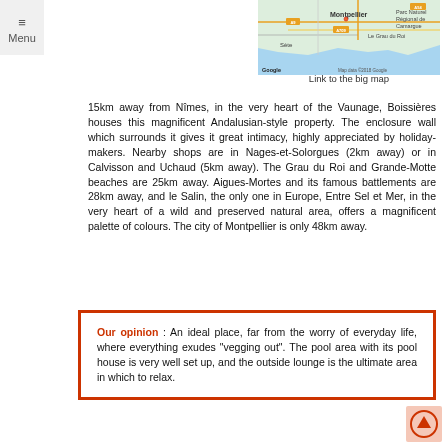≡ Menu
[Figure (map): Google map showing Montpellier region with roads and landmarks including Parc Naturel Régional de Camargue, Le Grau du Roi, Sète, with 'Map data ©2018 Google' watermark]
Link to the big map
15km away from Nîmes, in the very heart of the Vaunage, Boissières houses this magnificent Andalusian-style property. The enclosure wall which surrounds it gives it great intimacy, highly appreciated by holiday-makers. Nearby shops are in Nages-et-Solorgues (2km away) or in Calvisson and Uchaud (5km away). The Grau du Roi and Grande-Motte beaches are 25km away. Aigues-Mortes and its famous battlements are 28km away, and le Salin, the only one in Europe, Entre Sel et Mer, in the very heart of a wild and preserved natural area, offers a magnificent palette of colours. The city of Montpellier is only 48km away.
Our opinion : An ideal place, far from the worry of everyday life, where everything exudes "vegging out". The pool area with its pool house is very well set up, and the outside lounge is the ultimate area in which to relax.